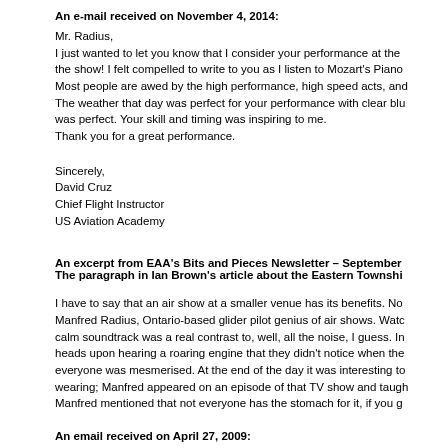An e-mail received on November 4, 2014:
Mr. Radius,
I just wanted to let you know that I consider your performance at the the show! I felt compelled to write to you as I listen to Mozart's Piano Most people are awed by the high performance, high speed acts, and The weather that day was perfect for your performance with clear blu was perfect. Your skill and timing was inspiring to me.
Thank you for a great performance.
Sincerely,
David Cruz
Chief Flight Instructor
US Aviation Academy
An excerpt from EAA's Bits and Pieces Newsletter – September The paragraph in Ian Brown's article about the Eastern Townshi
I have to say that an air show at a smaller venue has its benefits. No Manfred Radius, Ontario-based glider pilot genius of air shows. Watc calm soundtrack was a real contrast to, well, all the noise, I guess. In heads upon hearing a roaring engine that they didn't notice when the everyone was mesmerised. At the end of the day it was interesting to wearing; Manfred appeared on an episode of that TV show and taugh Manfred mentioned that not everyone has the stomach for it, if you g
An email received on April 27, 2009: